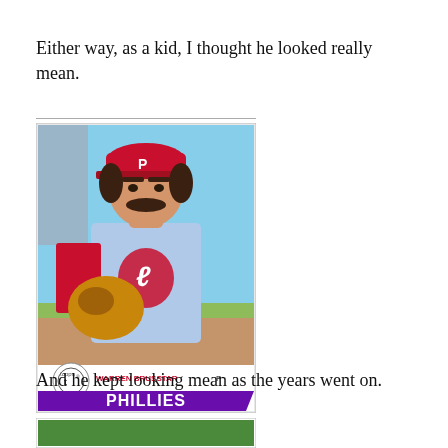Either way, as a kid, I thought he looked really mean.
[Figure (photo): 1979 Topps baseball card of Warren Brusstar, pitcher for the Philadelphia Phillies. Shows player in light blue Phillies uniform with red accents, red cap with P logo, holding a baseball glove. Bottom of card shows Topps logo, player name WARREN BRUSSTAR P, and PHILLIES banner in purple.]
And he kept looking mean as the years went on.
[Figure (photo): Partial view of another baseball card with green border visible at bottom of page.]